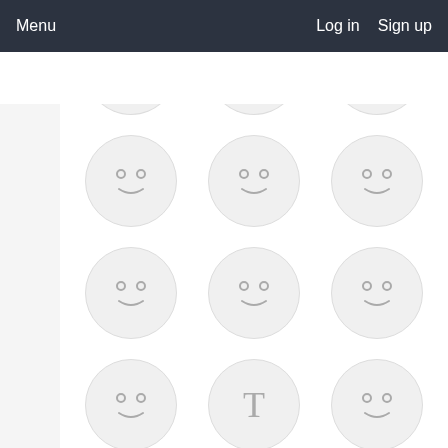Menu  Log in  Sign up
[Figure (screenshot): A grid of user avatar circles, most showing placeholder smiley faces. One circle shows the letter T, one shows a photo of a woman with a white dog, rest are smiley face placeholders. Navigation bar at top with Menu on left and Log in / Sign up on right.]